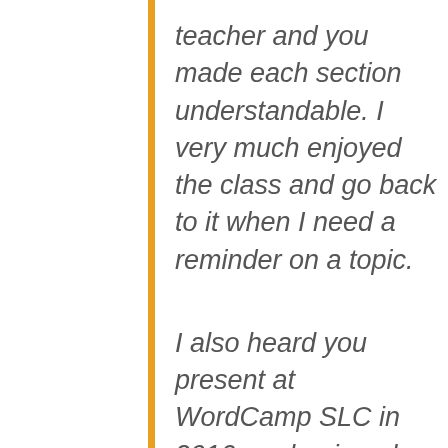teacher and you made each section understandable. I very much enjoyed the class and go back to it when I need a reminder on a topic.
I also heard you present at WordCamp SLC in 2016, and enjoyed your presentation there, also.
Thanks for sharing your knowledge and making this